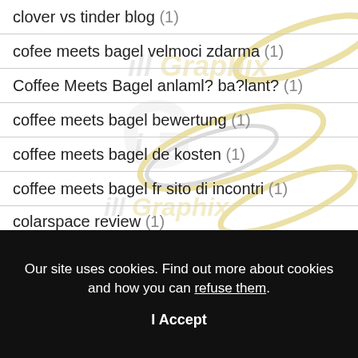clover vs tinder blog (1)
cofee meets bagel velmoci zdarma (1)
Coffee Meets Bagel anlaml? ba?lant? (1)
coffee meets bagel bewertung (1)
coffee meets bagel de kosten (1)
coffee meets bagel fr sito di incontri (1)
colarspace review (1)
Our site uses cookies. Find out more about cookies and how you can refuse them. I Accept